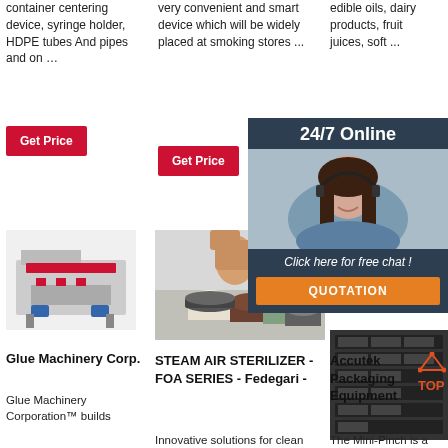container centering device, syringe holder, HDPE tubes And pipes and on …
very convenient and smart device which will be widely placed at smoking stores ...
edible oils, dairy products, fruit juices, soft ...
Get Price
Get Price
Get
[Figure (infographic): 24/7 Online chat widget with woman wearing headset, dark blue background, 'Click here for free chat!' text and orange QUOTATION button]
[Figure (photo): Industrial glue/filling machine]
[Figure (photo): Steam air sterilizer - hand holding lid over colored containers]
[Figure (photo): Server rack equipment]
Glue Machinery Corp.
Glue Machinery Corporation™ builds
STEAM AIR STERILIZER - FOA SERIES - Fedegari -
Innovative solutions for clean and sterile
Accutek Packaging Equipment
[Figure (logo): Accutek TOP logo with triangle and dots in orange/red]
The Mini-Pinch is a